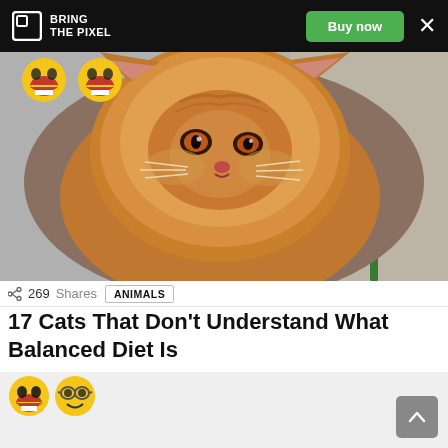BRING THE PIXEL | Buy now
[Figure (photo): Close-up photo of an orange/gold Persian cat with a grumpy flat face and amber eyes, with a green plant in the background. Two laughing emoji icons visible at top left of photo.]
269 Shares  ANIMALS
17 Cats That Don't Understand What Balanced Diet Is
[Figure (illustration): Two emoji icons: laughing face with open mouth and nerd face with glasses]